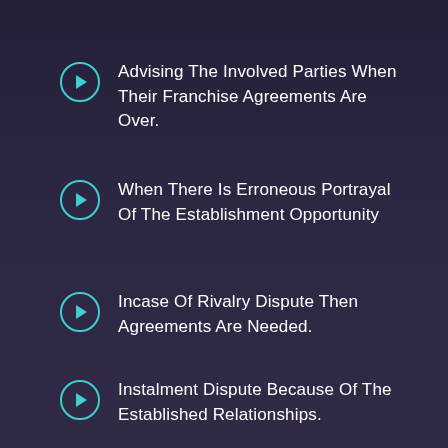Advising The Involved Parties When Their Franchise Agreements Are Over.
When There Is Erroneous Portrayal Of The Establishment Opportunity
Incase Of Rivalry Dispute Then Agreements Are Needed.
Instalment Dispute Because Of The Established Relationships.
Harm To The Franchisor's Image By The Franchisee